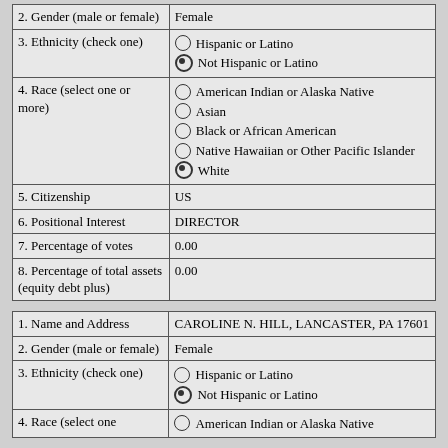| Field | Value |
| --- | --- |
| 2. Gender (male or female) | Female |
| 3. Ethnicity (check one) | ○ Hispanic or Latino
● Not Hispanic or Latino |
| 4. Race (select one or more) | ○ American Indian or Alaska Native
○ Asian
○ Black or African American
○ Native Hawaiian or Other Pacific Islander
● White |
| 5. Citizenship | US |
| 6. Positional Interest | DIRECTOR |
| 7. Percentage of votes | 0.00 |
| 8. Percentage of total assets (equity debt plus) | 0.00 |
| Field | Value |
| --- | --- |
| 1. Name and Address | CAROLINE N. HILL, LANCASTER, PA 17601 |
| 2. Gender (male or female) | Female |
| 3. Ethnicity (check one) | ○ Hispanic or Latino
● Not Hispanic or Latino |
| 4. Race (select one or more) | ○ American Indian or Alaska Native |